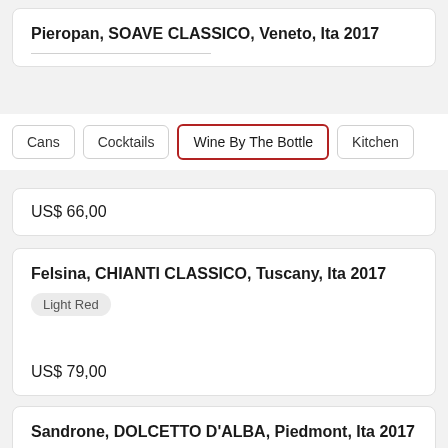Pieropan, SOAVE CLASSICO, Veneto, Ita 2017
Cans
Cocktails
Wine By The Bottle
Kitchen
US$ 66,00
Felsina, CHIANTI CLASSICO, Tuscany, Ita 2017
Light Red
US$ 79,00
Sandrone, DOLCETTO D'ALBA, Piedmont, Ita 2017
Light Red